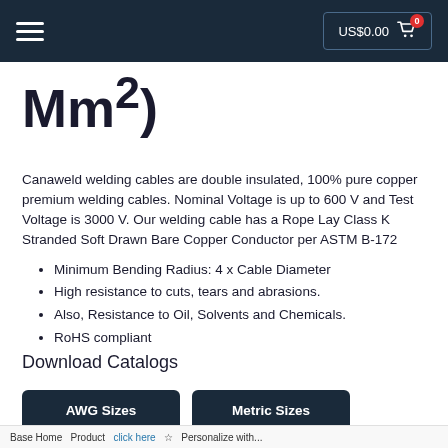US$0.00  [cart] 0
Mm²)
Canaweld welding cables are double insulated, 100% pure copper premium welding cables. Nominal Voltage is up to 600 V and Test Voltage is 3000 V. Our welding cable has a Rope Lay Class K Stranded Soft Drawn Bare Copper Conductor per ASTM B-172
Minimum Bending Radius: 4 x Cable Diameter
High resistance to cuts, tears and abrasions.
Also, Resistance to Oil, Solvents and Chemicals.
RoHS compliant
Download Catalogs
AWG Sizes   Metric Sizes